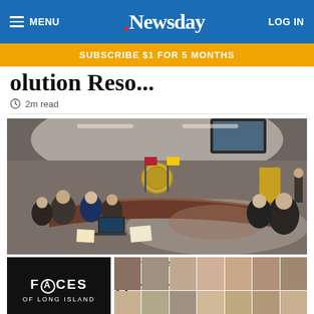MENU | Newsday | LOG IN
SUBSCRIBE $1 FOR 5 MONTHS
...olution Reso...
2m read
[Figure (photo): A government council chamber with people seated around a curved wooden table. American and other flags stand in the background. A television screen is visible at the top. The room has a high ceiling with recessed lighting.]
GUEST ESSAYS
Su... ... ...n bl...
[Figure (logo): FACES OF LONG ISLAND overlay with portrait photos of various people arranged in a grid]